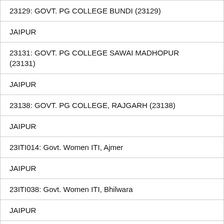23129: GOVT. PG COLLEGE BUNDI (23129)
JAIPUR
23131: GOVT. PG COLLEGE SAWAI MADHOPUR (23131)
JAIPUR
23138: GOVT. PG COLLEGE, RAJGARH (23138)
JAIPUR
23ITI014: Govt. Women ITI, Ajmer
JAIPUR
23ITI038: Govt. Women ITI, Bhilwara
JAIPUR
23ITI016: Govt. Women ITI, Kota